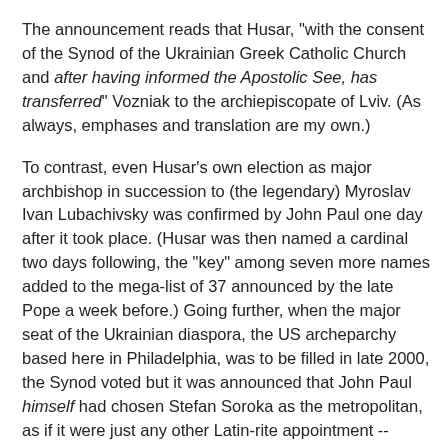The announcement reads that Husar, "with the consent of the Synod of the Ukrainian Greek Catholic Church and after having informed the Apostolic See, has transferred" Vozniak to the archiepiscopate of Lviv. (As always, emphases and translation are my own.)
To contrast, even Husar's own election as major archbishop in succession to (the legendary) Myroslav Ivan Lubachivsky was confirmed by John Paul one day after it took place. (Husar was then named a cardinal two days following, the "key" among seven more names added to the mega-list of 37 announced by the late Pope a week before.) Going further, when the major seat of the Ukrainian diaspora, the US archeparchy based here in Philadelphia, was to be filled in late 2000, the Synod voted but it was announced that John Paul himself had chosen Stefan Soroka as the metropolitan, as if it were just any other Latin-rite appointment -- probably no mention was made of election and assent so as not to get the Latin-rite Americans all hopped up about democratic selection of bishops, leading them to think that it was right around the corner.